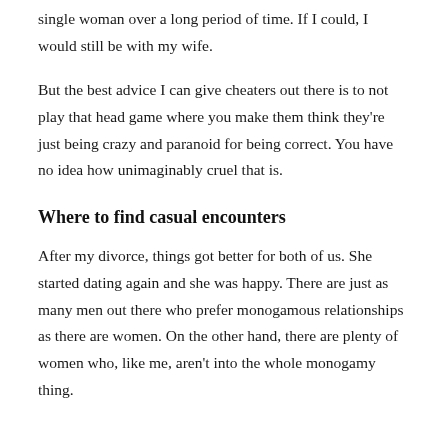single woman over a long period of time. If I could, I would still be with my wife.
But the best advice I can give cheaters out there is to not play that head game where you make them think they're just being crazy and paranoid for being correct. You have no idea how unimaginably cruel that is.
Where to find casual encounters
After my divorce, things got better for both of us. She started dating again and she was happy. There are just as many men out there who prefer monogamous relationships as there are women. On the other hand, there are plenty of women who, like me, aren't into the whole monogamy thing.